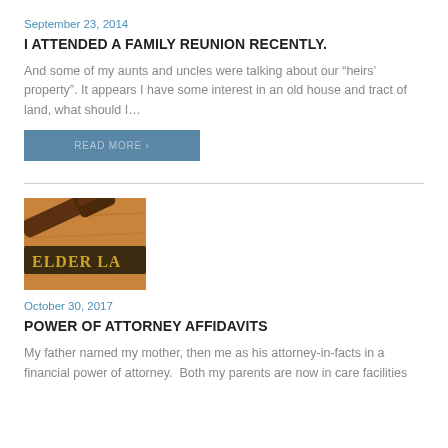September 23, 2014
I ATTENDED A FAMILY REUNION RECENTLY.
And some of my aunts and uncles were talking about our “heirs’ property”. It appears I have some interest in an old house and tract of land, what should I…
READ MORE ›
[Figure (photo): Photo of a judge's gavel resting on a wooden nameplate reading 'ELDER LA' (Elder Law), in warm brown tones]
October 30, 2017
POWER OF ATTORNEY AFFIDAVITS
My father named my mother, then me as his attorney-in-facts in a financial power of attorney.  Both my parents are now in care facilities